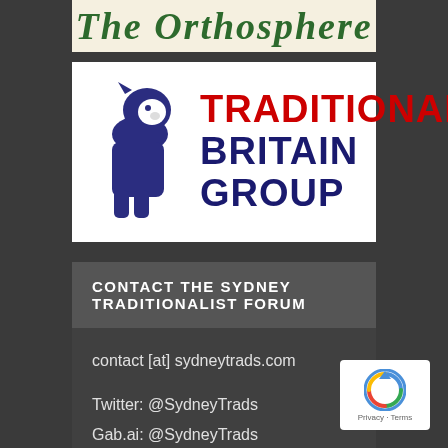[Figure (logo): The Orthosphere banner/logo in green italic serif font on cream background]
[Figure (logo): Traditional Britain Group logo with dark blue lion silhouette and red TRADITIONAL / dark blue BRITAIN GROUP text on white background]
CONTACT THE SYDNEY TRADITIONALIST FORUM
contact [at] sydneytrads.com
Twitter: @SydneyTrads
Gab.ai: @SydneyTrads
Telegram: @SydneyTrads